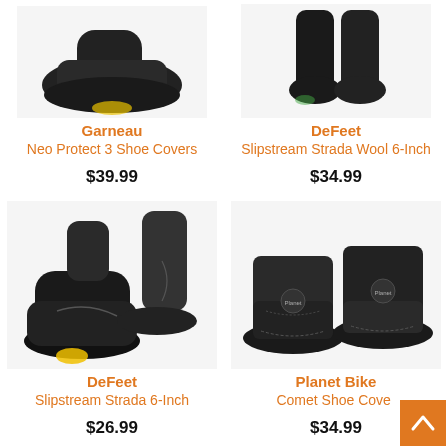[Figure (photo): Garneau Neo Protect 3 Shoe Covers product image (partially cropped at top)]
Garneau
Neo Protect 3 Shoe Covers
$39.99
[Figure (photo): DeFeet Slipstream Strada Wool 6-Inch product image (partially cropped at top)]
DeFeet
Slipstream Strada Wool 6-Inch
$34.99
[Figure (photo): DeFeet Slipstream Strada 6-Inch shoe covers product image]
DeFeet
Slipstream Strada 6-Inch
$26.99
[Figure (photo): Planet Bike Comet Shoe Covers product image]
Planet Bike
Comet Shoe Covers
$34.99